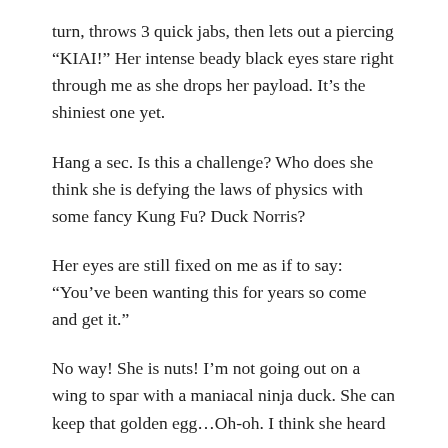turn, throws 3 quick jabs, then lets out a piercing “KIAI!” Her intense beady black eyes stare right through me as she drops her payload. It’s the shiniest one yet.
Hang a sec. Is this a challenge? Who does she think she is defying the laws of physics with some fancy Kung Fu? Duck Norris?
Her eyes are still fixed on me as if to say: “You’ve been wanting this for years so come and get it.”
No way! She is nuts! I’m not going out on a wing to spar with a maniacal ninja duck. She can keep that golden egg…Oh-oh. I think she heard me.
The ruffled ninja retreats into a square duck stance, holds her wing face up, and curls her feather tips a few times towards her.